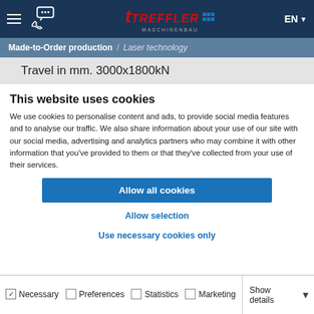TREFFLER MASCHINENBAU — EN
Made-to-Order production / Laser technology
Travel in mm. 3000x1800kN
This website uses cookies
We use cookies to personalise content and ads, to provide social media features and to analyse our traffic. We also share information about your use of our site with our social media, advertising and analytics partners who may combine it with other information that you've provided to them or that they've collected from your use of their services.
Allow all cookies
Allow selection
Use necessary cookies only
Necessary  Preferences  Statistics  Marketing  Show details